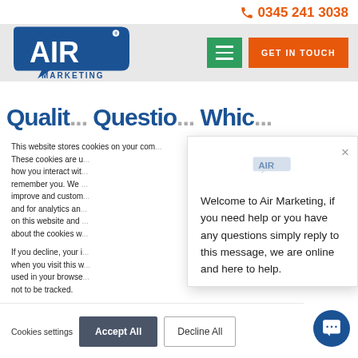[Figure (logo): Air Marketing logo - blue speech bubble with AIR text and MARKETING below]
0345 241 3038
[Figure (screenshot): Green hamburger menu button]
[Figure (screenshot): Orange GET IN TOUCH button]
Qualit... Questio... Whic...
This website stores cookies on your com... These cookies are u... how you interact wit... remember you. We ... improve and custom... and for analytics an... on this website and ... about the cookies w...
If you decline, your i... when you visit this w... used in your browse... not to be tracked.
[Figure (screenshot): Air Marketing chat popup with logo and welcome message: Welcome to Air Marketing, if you need help or you have any questions simply reply to this message, we are online and here to help.]
Cookies settings
Accept All
Decline All